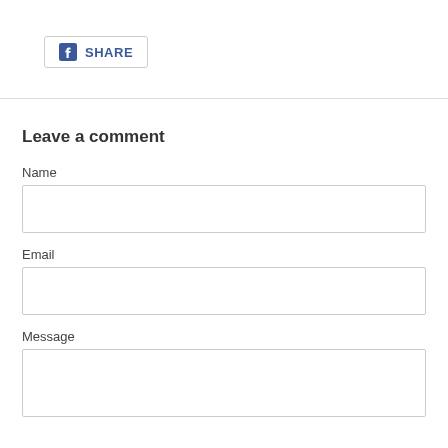[Figure (other): Facebook Share button with Facebook logo icon and SHARE text, inside a rounded border box]
Leave a comment
Name
Email
Message